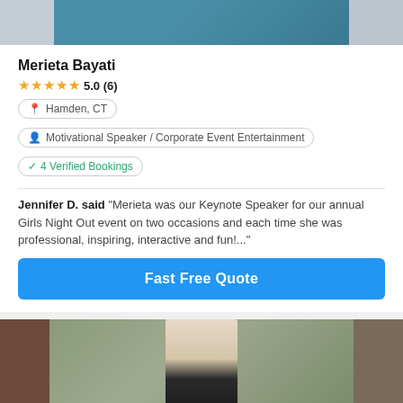[Figure (photo): Top portion of a speaker profile image showing a person in a teal jacket, flanked by blurred side panels]
Merieta Bayati
★★★★★ 5.0 (6)
📍 Hamden, CT
👤 Motivational Speaker / Corporate Event Entertainment
✓ 4 Verified Bookings
Jennifer D. said "Merieta was our Keynote Speaker for our annual Girls Night Out event on two occasions and each time she was professional, inspiring, interactive and fun!..."
Fast Free Quote
[Figure (photo): Bottom profile photo of a young man wearing sunglasses, photographed outdoors near a chain-link fence]